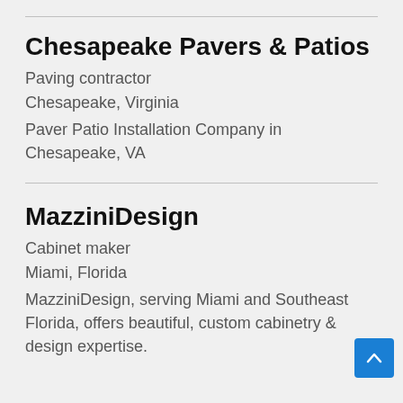Chesapeake Pavers & Patios
Paving contractor
Chesapeake, Virginia
Paver Patio Installation Company in Chesapeake, VA
MazziniDesign
Cabinet maker
Miami, Florida
MazziniDesign, serving Miami and Southeast Florida, offers beautiful, custom cabinetry & design expertise.